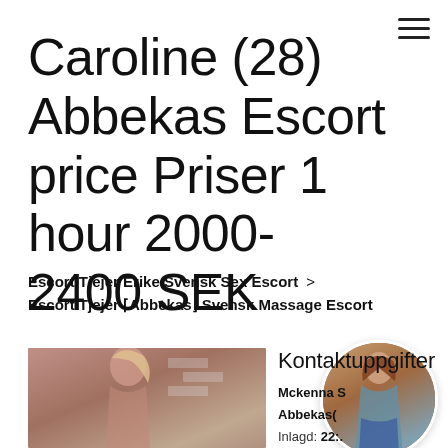Caroline (28) Abbekas Escort price Priser 1 hour 2000-2400 SEK
Escort Tjejer Erike Svensk Sex Escort > Escort Tjejer ⌈Abbekas⌋ Svensk Massage Escort
[Figure (photo): Photo of a blonde woman in red top, side profile, against white brick wall background]
[Figure (photo): Circular cropped photo of a woman in teal top and denim shorts, seen from behind]
Kontaktuppgifter
Mckenna S... Abbekas(
Inlagd: 22:...
Profil: 465211...
Verification: